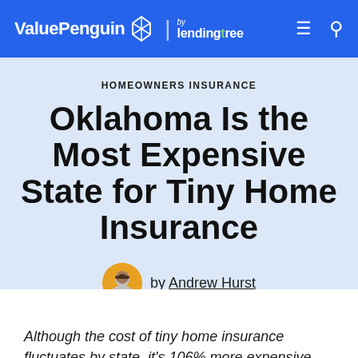ValuePenguin by lendingtree
HOMEOWNERS INSURANCE
Oklahoma Is the Most Expensive State for Tiny Home Insurance
by Andrew Hurst
updated Aug 16, 2021
Although the cost of tiny home insurance fluctuates by state, it's 106% more expensive, on